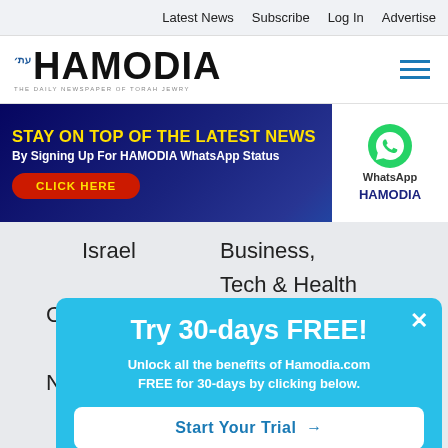Latest News  Subscribe  Log In  Advertise
[Figure (logo): Hamodia newspaper logo — THE DAILY NEWSPAPER OF TORAH JEWRY]
[Figure (infographic): Banner ad: STAY ON TOP OF THE LATEST NEWS By Signing Up For HAMODIA WhatsApp Status CLICK HERE — with WhatsApp logo and HAMODIA branding]
Israel
Business, Tech & Health
Community
Ne
[Figure (screenshot): Popup overlay: Try 30-days FREE! Unlock all the benefits of Hamodia.com FREE for 30-days by clicking below. Start Your Trial → button. Close (×) button in top right.]